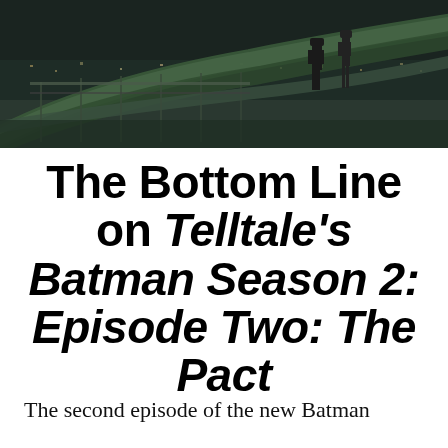[Figure (screenshot): Dark screenshot from a Batman video game showing two figures standing on a rooftop at night with city lights in the background and large cables or pipes in the foreground.]
The Bottom Line on Telltale's Batman Season 2: Episode Two: The Pact
The second episode of the new Batman